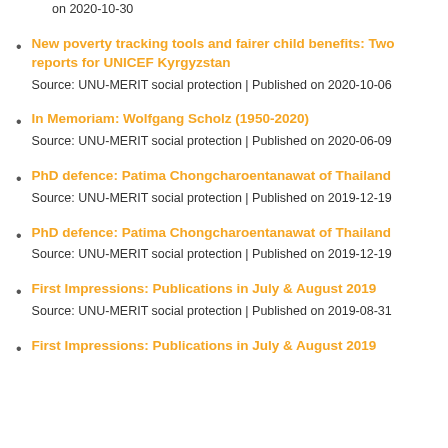on 2020-10-30
New poverty tracking tools and fairer child benefits: Two reports for UNICEF Kyrgyzstan
Source: UNU-MERIT social protection | Published on 2020-10-06
In Memoriam: Wolfgang Scholz (1950-2020)
Source: UNU-MERIT social protection | Published on 2020-06-09
PhD defence: Patima Chongcharoentanawat of Thailand
Source: UNU-MERIT social protection | Published on 2019-12-19
PhD defence: Patima Chongcharoentanawat of Thailand
Source: UNU-MERIT social protection | Published on 2019-12-19
First Impressions: Publications in July & August 2019
Source: UNU-MERIT social protection | Published on 2019-08-31
First Impressions: Publications in July & August 2019